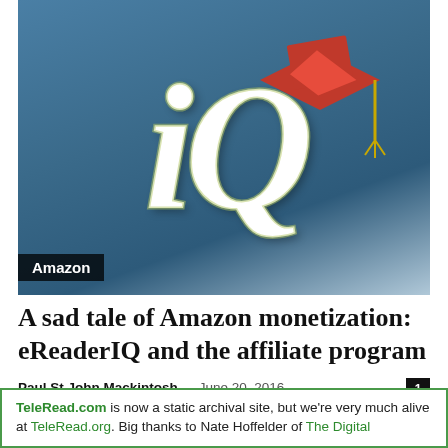[Figure (photo): eReaderIQ logo with large italic 'iQ' letters on blue gradient background, with a red graduation cap on top right corner]
Amazon
A sad tale of Amazon monetization: eReaderIQ and the affiliate program
Paul St John Mackintosh – June 20, 2016
Courtesy of the Kboards, a worrying item about struggling e-book sites and their ability to monetize engagement with Amazon - or not - has...
TeleRead.com is now a static archival site, but we're very much alive at TeleRead.org. Big thanks to Nate Hoffelder of The Digital...